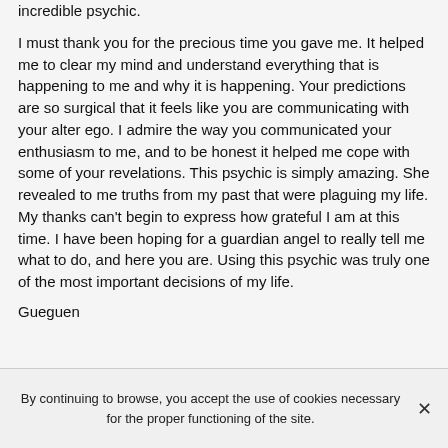incredible psychic.
I must thank you for the precious time you gave me. It helped me to clear my mind and understand everything that is happening to me and why it is happening. Your predictions are so surgical that it feels like you are communicating with your alter ego. I admire the way you communicated your enthusiasm to me, and to be honest it helped me cope with some of your revelations. This psychic is simply amazing. She revealed to me truths from my past that were plaguing my life. My thanks can't begin to express how grateful I am at this time. I have been hoping for a guardian angel to really tell me what to do, and here you are. Using this psychic was truly one of the most important decisions of my life.
Gueguen
By continuing to browse, you accept the use of cookies necessary for the proper functioning of the site.